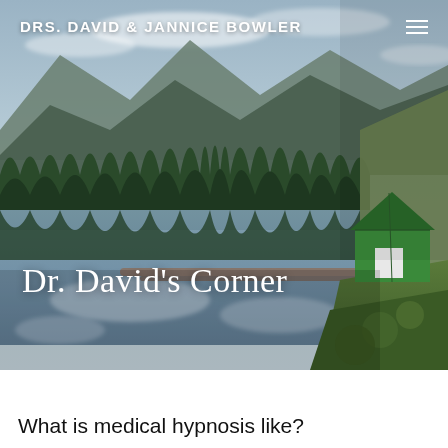DRS. DAVID & JANNICE BOWLER
[Figure (photo): Scenic mountain lake with evergreen forest reflection, a green barn/boathouse on the right shore, and moss-covered rocks in the foreground. Overlay text reads 'Dr. David's Corner'.]
What is medical hypnosis like?